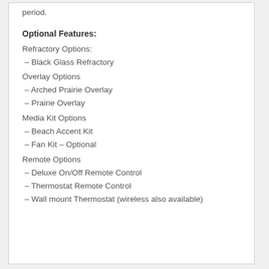period.
Optional Features:
Refractory Options:
– Black Glass Refractory
Overlay Options
– Arched Prairie Overlay
– Prairie Overlay
Media Kit Options
– Beach Accent Kit
– Fan Kit – Optional
Remote Options
– Deluxe On/Off Remote Control
– Thermostat Remote Control
– Wall mount Thermostat (wireless also available)